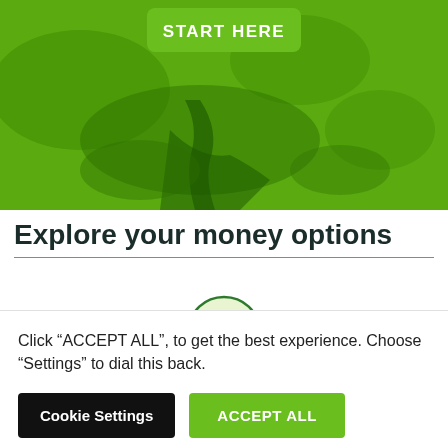[Figure (photo): Aerial green-tinted landscape photo with a 'START HERE' button overlaid at the top center on a green rounded rectangle]
Explore your money options
[Figure (illustration): Green circular arrow-up icon partially visible at the bottom of the section]
Click “ACCEPT ALL”, to get the best experience. Choose “Settings” to dial this back.
Cookie Settings
ACCEPT ALL